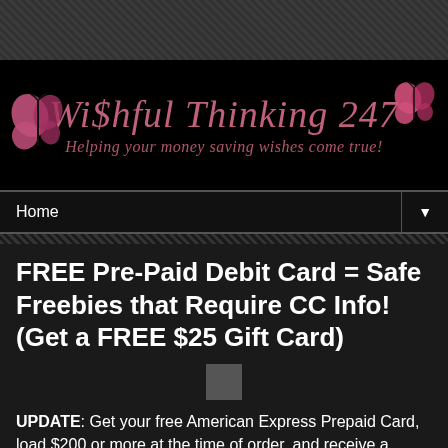[Figure (logo): Wishful Thinking 247 blog logo with pink cursive text and butterfly decorations on black background. Tagline: Helping your money saving wishes come true!]
Home ▼
FREE Pre-Paid Debit Card = Safe Freebies that Require CC Info! (Get a FREE $25 Gift Card)
UPDATE: Get your free American Express Prepaid Card, load $200 or more at the time of order, and receive a FREE $25 gift card! Offer ends June 30, 2012.